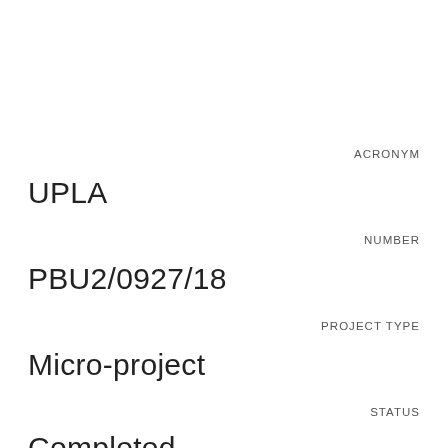ACRONYM
UPLA
NUMBER
PBU2/0927/18
PROJECT TYPE
Micro-project
STATUS
Completed